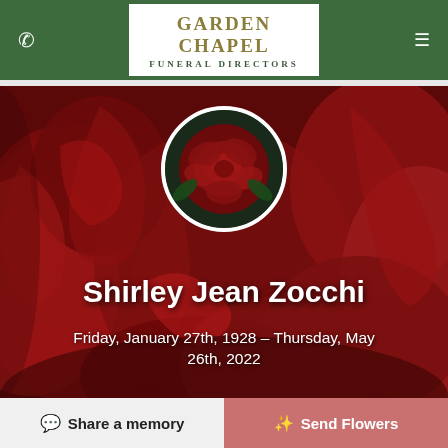Garden Chapel Funeral Directors
[Figure (photo): Hero image of deep red roses background with a circular portrait inset showing a single red rose, overlaid with the name and dates of the deceased.]
Shirley Jean Zocchi
Friday, January 27th, 1928 – Thursday, May 26th, 2022
Share a memory
Send Flowers